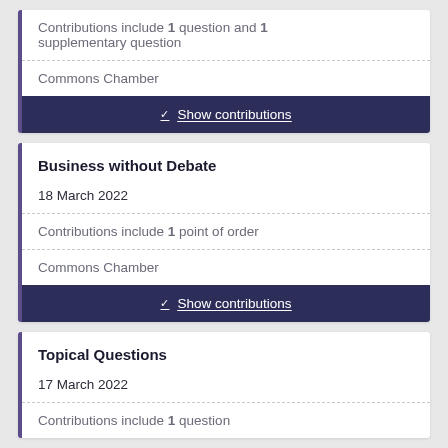Contributions include 1 question and 1 supplementary question
Commons Chamber
Show contributions
Business without Debate
18 March 2022
Contributions include 1 point of order
Commons Chamber
Show contributions
Topical Questions
17 March 2022
Contributions include 1 question